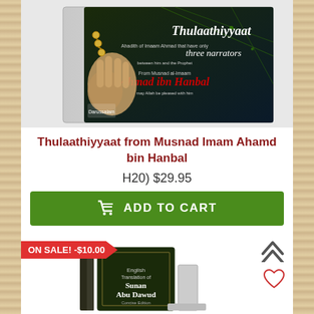[Figure (photo): Book cover photo of 'Thulaathiyyaat from Musnad Imam Ahmad bin Hanbal' showing a hand holding prayer beads against a dark background with green circuit-like design]
Thulaathiyyaat from Musnad Imam Ahamd bin Hanbal
H20) $29.95
ADD TO CART
ON SALE! -$10.00
[Figure (photo): Books of 'English Translation of Sunan Abu Dawud' shown partially at bottom of page]